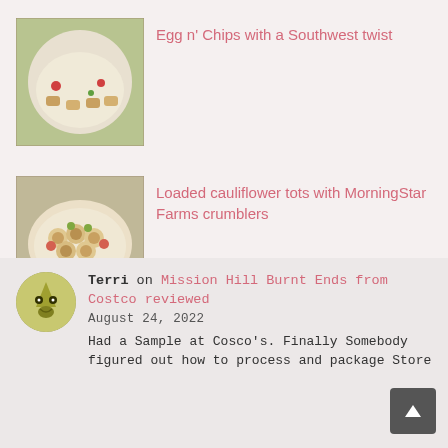[Figure (photo): Thumbnail photo of egg and chips dish on a white plate with colorful toppings]
Egg n' Chips with a Southwest twist
[Figure (photo): Thumbnail photo of loaded cauliflower tots on a white plate]
Loaded cauliflower tots with MorningStar Farms crumblers
[Figure (photo): Avatar icon of a cartoon bird character]
Terri on Mission Hill Burnt Ends from Costco reviewed
August 24, 2022
Had a Sample at Cosco's. Finally Somebody figured out how to process and package Store